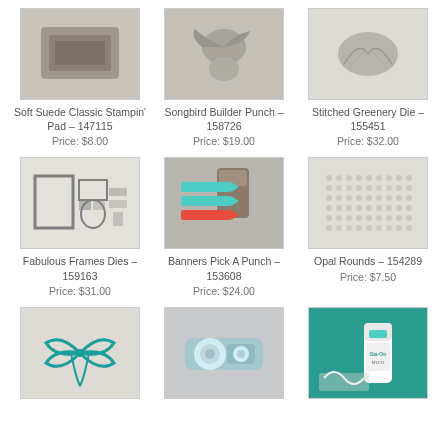[Figure (photo): Soft Suede Classic Stampin' Pad product photo]
Soft Suede Classic Stampin' Pad – 147115
Price: $8.00
[Figure (photo): Songbird Builder Punch product photo]
Songbird Builder Punch – 158726
Price: $19.00
[Figure (photo): Stitched Greenery Die product photo]
Stitched Greenery Die – 155451
Price: $32.00
[Figure (photo): Fabulous Frames Dies product photo]
Fabulous Frames Dies – 159163
Price: $31.00
[Figure (photo): Banners Pick A Punch product photo]
Banners Pick A Punch – 153608
Price: $24.00
[Figure (photo): Opal Rounds product photo]
Opal Rounds – 154289
Price: $7.50
[Figure (photo): Bow product photo (teal ribbon)]
[Figure (photo): Tape runner product photo]
[Figure (photo): Glue product photo on teal background]